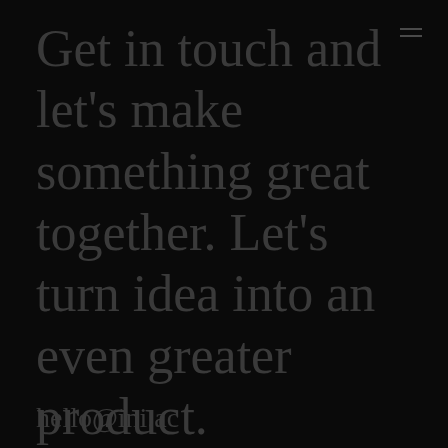Get in touch and let's make something great together. Let's turn idea into an even greater product.
hello@ini.ac